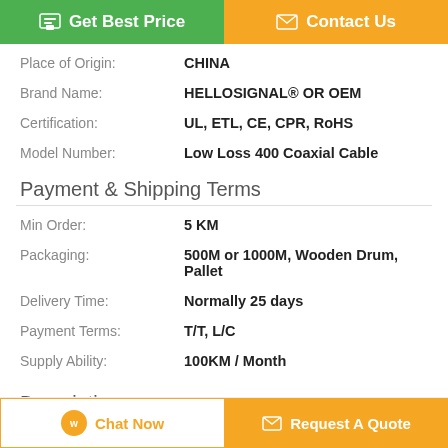[Figure (other): Two buttons: green 'Get Best Price' and orange 'Contact Us']
Place of Origin: CHINA
Brand Name: HELLOSIGNAL® OR OEM
Certification: UL, ETL, CE, CPR, RoHS
Model Number: Low Loss 400 Coaxial Cable
Payment & Shipping Terms
Min Order: 5 KM
Packaging: 500M or 1000M, Wooden Drum, Pallet
Delivery Time: Normally 25 days
Payment Terms: T/T, L/C
Supply Ability: 100KM / Month
Description
[Figure (other): Bottom bar with 'Chat Now' and 'Request A Quote' buttons]